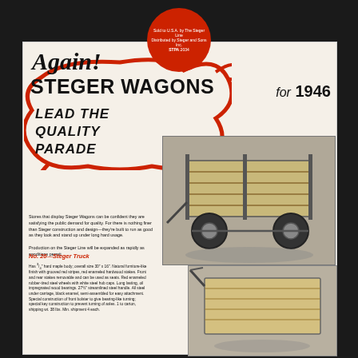Again! STEGER WAGONS for 1946
LEAD THE QUALITY PARADE
Stores that display Steger Wagons can be confident they are satisfying the public demand for quality. For there is nothing finer than Steger construction and design—they're built to run as good as they look and stand up under long hard usage. Production on the Steger Line will be expanded as rapidly as conditions permit.
No. 26—Steger Truck
Has 3/4" hard maple body; overall size 30" x 16". Natural furniture-like finish with grooved red stripes, red enameled hardwood stakes. Front and rear stakes removable and can be used as seats. Red enameled rubber-tired steel wheels with white steel hub caps. Long lasting, oil impregnated wood bearings. 27½" streamlined steel handle. All steel under carriage, black enamel, semi-assembled for easy attachment. Special construction of front bolster to give bearing-like turning; special key construction to prevent turning of axles. 1 to carton, shipping wt. 38 lbs. Min. shipment 4 each.
[Figure (photo): Photograph of a Steger wagon with wooden slatted sides and rubber-tired wheels]
[Figure (photo): Photograph of a Steger truck/wagon from above showing the wooden body and handle]